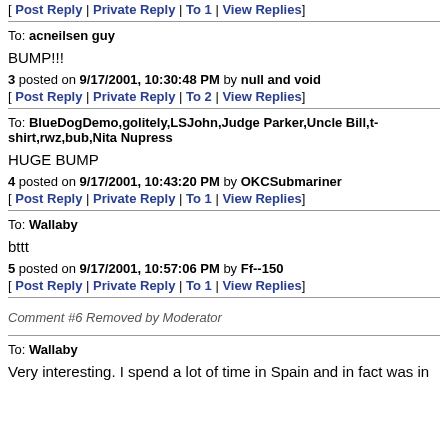[ Post Reply | Private Reply | To 1 | View Replies]
To: acneilsen guy

BUMP!!!
3 posted on 9/17/2001, 10:30:48 PM by null and void
[ Post Reply | Private Reply | To 2 | View Replies]
To: BlueDogDemo,golitely,LSJohn,Judge Parker,Uncle Bill,t-shirt,rwz,bub,Nita Nupress

HUGE BUMP
4 posted on 9/17/2001, 10:43:20 PM by OKCSubmariner
[ Post Reply | Private Reply | To 1 | View Replies]
To: Wallaby

bttt
5 posted on 9/17/2001, 10:57:06 PM by Ff--150
[ Post Reply | Private Reply | To 1 | View Replies]
Comment #6 Removed by Moderator
To: Wallaby

Very interesting. I spend a lot of time in Spain and in fact was in